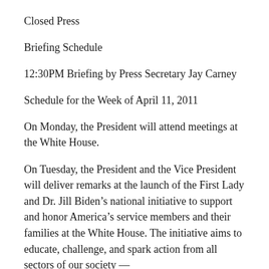Closed Press
Briefing Schedule
12:30PM Briefing by Press Secretary Jay Carney
Schedule for the Week of April 11, 2011
On Monday, the President will attend meetings at the White House.
On Tuesday, the President and the Vice President will deliver remarks at the launch of the First Lady and Dr. Jill Biden’s national initiative to support and honor America’s service members and their families at the White House. The initiative aims to educate, challenge, and spark action from all sectors of our society —